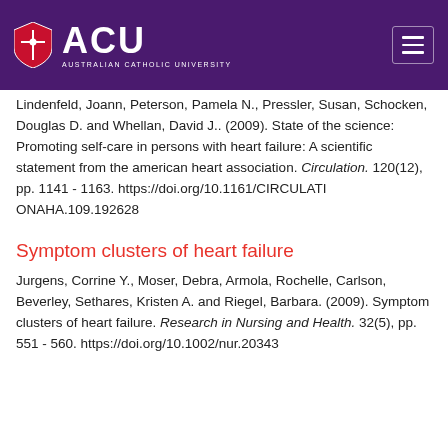ACU — Australian Catholic University
Lindenfeld, Joann, Peterson, Pamela N., Pressler, Susan, Schocken, Douglas D. and Whellan, David J.. (2009). State of the science: Promoting self-care in persons with heart failure: A scientific statement from the american heart association. Circulation. 120(12), pp. 1141 - 1163. https://doi.org/10.1161/CIRCULATIONAHA.109.192628
Symptom clusters of heart failure
Jurgens, Corrine Y., Moser, Debra, Armola, Rochelle, Carlson, Beverley, Sethares, Kristen A. and Riegel, Barbara. (2009). Symptom clusters of heart failure. Research in Nursing and Health. 32(5), pp. 551 - 560. https://doi.org/10.1002/nur.20343